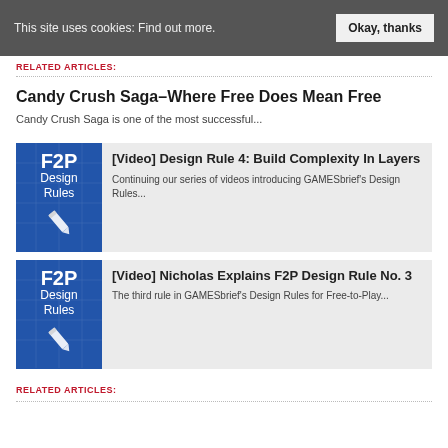This site uses cookies: Find out more. Okay, thanks
RELATED ARTICLES:
Candy Crush Saga–Where Free Does Mean Free
Candy Crush Saga is one of the most successful...
[Figure (illustration): F2P Design Rules logo with pencil icon on blue background]
[Video] Design Rule 4: Build Complexity In Layers
Continuing our series of videos introducing GAMESbrief's Design Rules...
[Figure (illustration): F2P Design Rules logo with pencil icon on blue background]
[Video] Nicholas Explains F2P Design Rule No. 3
The third rule in GAMESbrief's Design Rules for Free-to-Play...
RELATED ARTICLES: